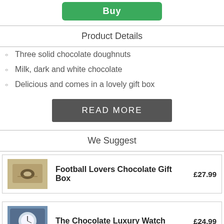[Figure (other): Green Buy button at top of page]
Product Details
Three solid chocolate doughnuts
Milk, dark and white chocolate
Delicious and comes in a lovely gift box
[Figure (other): Dark grey READ MORE button]
We Suggest
[Figure (other): Product card: Football Lovers Chocolate Gift Box image thumbnail]
Football Lovers Chocolate Gift Box  £27.99
[Figure (other): Product card: The Chocolate Luxury Watch image thumbnail]
The Chocolate Luxury Watch  £24.99